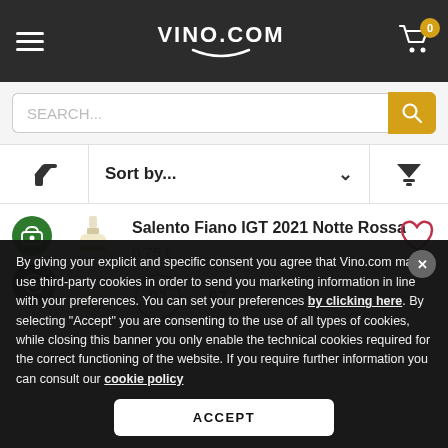VINO.COM
SEARCH...
Sort by...
Salento Fiano IGT 2021 Notte Rossa
0,75 l
By giving your explicit and specific consent you agree that Vino.com may use third-party cookies in order to send you marketing information in line with your preferences. You can set your preferences by clicking here. By selecting “Accept” you are consenting to the use of all types of cookies, while closing this banner you only enable the technical cookies required for the correct functioning of the website. If you require further information you can consult our cookie policy
ACCEPT